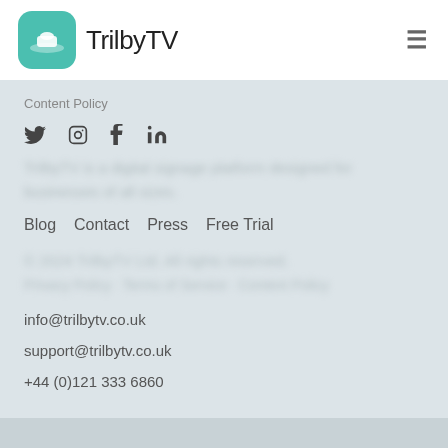TrilbyTV
Content Policy
[Figure (infographic): Social media icons: Twitter (bird), Instagram (camera outline), Facebook (f), LinkedIn (in)]
Blog   Contact   Press   Free Trial
info@trilbytv.co.uk
support@trilbytv.co.uk
+44 (0)121 333 6860